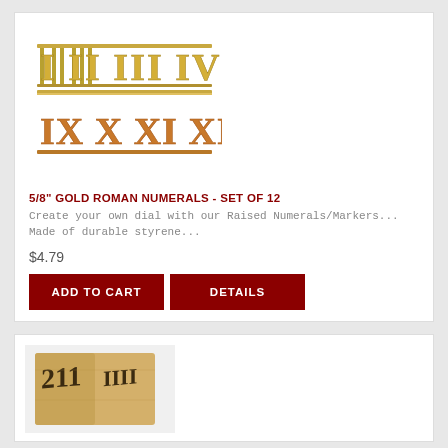[Figure (photo): Gold Roman numerals set showing two rows of metallic Roman numeral characters I through XII on a white background]
5/8" GOLD ROMAN NUMERALS - SET OF 12
Create your own dial with our Raised Numerals/Markers... Made of durable styrene...
$4.79
ADD TO CART
DETAILS
[Figure (photo): A wooden block or tile with dark Roman numerals printed on a light tan/beige background, showing partial numerals]